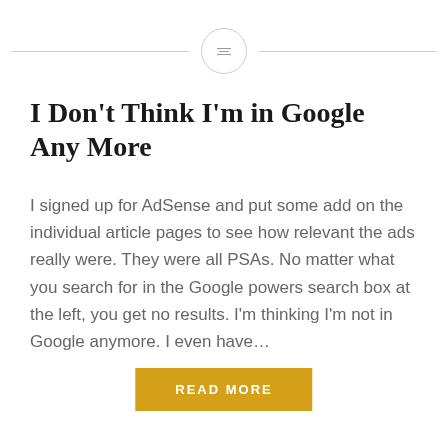[Figure (other): Decorative horizontal divider with a circle icon in the center containing three horizontal lines (hamburger/menu icon)]
I Don’t Think I’m in Google Any More
I signed up for AdSense and put some add on the individual article pages to see how relevant the ads really were. They were all PSAs. No matter what you search for in the Google powers search box at the left, you get no results. I’m thinking I’m not in Google anymore. I even have…
READ MORE